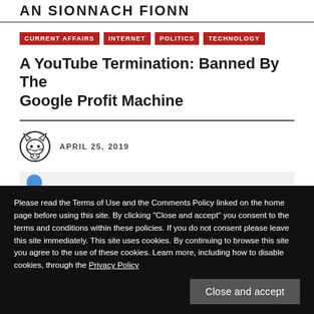AN SIONNACH FIONN
CURRENT AFFAIRS
INTERNET
POLITICS
TECHNOLOGY
A YouTube Termination: Banned By The Google Profit Machine
APRIL 25, 2019
Please read the Terms of Use and the Comments Policy linked on the home page before using this site. By clicking "Close and accept" you consent to the terms and conditions within these policies. If you do not consent please leave this site immediately. This site uses cookies. By continuing to browse this site you agree to the use of these cookies. Learn more, including how to disable cookies, through the Privacy Policy